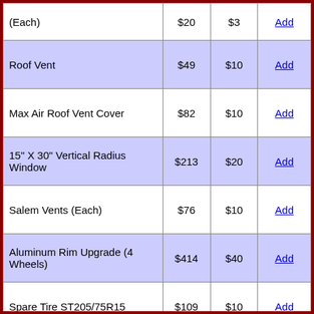| Item | Price | Ship | Action |
| --- | --- | --- | --- |
| (Each) | $20 | $3 | Add |
| Roof Vent | $49 | $10 | Add |
| Max Air Roof Vent Cover | $82 | $10 | Add |
| 15" X 30" Vertical Radius Window | $213 | $20 | Add |
| Salem Vents (Each) | $76 | $10 | Add |
| Aluminum Rim Upgrade (4 Wheels) | $414 | $40 | Add |
| Spare Tire ST205/75R15 | $109 | $10 | Add |